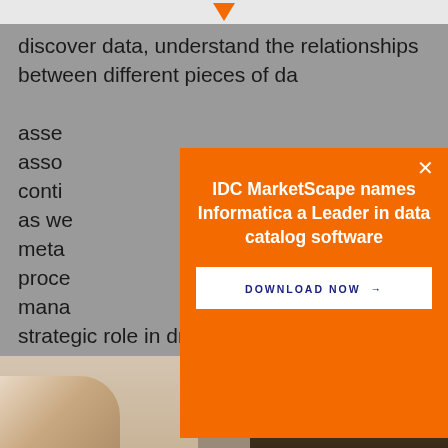[Figure (logo): Orange downward arrow/chevron logo at top center]
discover data, understand the relationships between different pieces of da... asse... asso... conti... as we... meta... proce... mana... strategic role in driving digital transformation.
[Figure (infographic): Orange modal popup overlay with white X close button, bold white text 'IDC MarketScape names Informatica a Leader in data catalog software', and white button 'DOWNLOAD NOW →']
[Figure (photo): Bottom photo strip showing two people, one on left and one on right with braided hair]